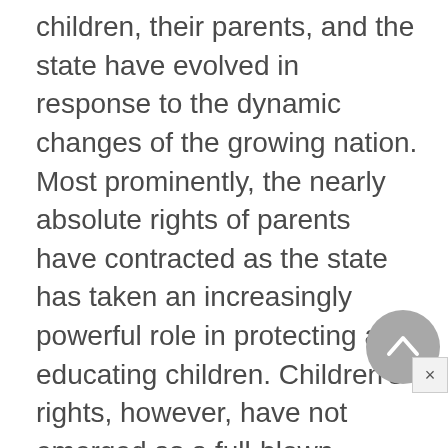children, their parents, and the state have evolved in response to the dynamic changes of the growing nation. Most prominently, the nearly absolute rights of parents have contracted as the state has taken an increasingly powerful role in protecting and educating children. Children's rights, however, have not emerged as a full-blown independent concept. Only pockets of law, primarily in the areas of criminal justice and reproductive rights, have evolved to